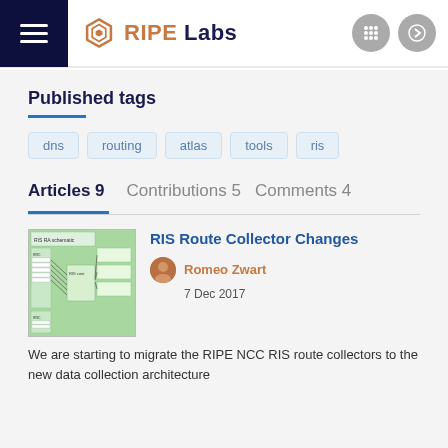RIPE Labs
Published tags
dns
routing
atlas
tools
ris
Articles 9  Contributions 5  Comments 4
RIS Route Collector Changes
Romeo Zwart
7 Dec 2017
We are starting to migrate the RIPE NCC RIS route collectors to the new data collection architecture